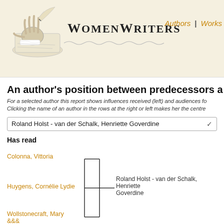[Figure (illustration): WomenWriters website header with hand holding quill pen illustration and site logo text]
Authors | Works
An author's position between predecessors a...
For a selected author this report shows influences received (left) and audiences fo... Clicking the name of an author in the rows at the right or left makes her the centre...
Roland Holst - van der Schalk, Henriette Goverdine
Has read
[Figure (other): Bracket diagram showing: Colonna, Vittoria and Huygens, Cornélie Lydie and Wollstonecraft, Mary &&& connecting to Roland Holst - van der Schalk, Henriette Goverdine in center]
Colonna, Vittoria
Huygens, Cornélie Lydie
Wollstonecraft, Mary &&&